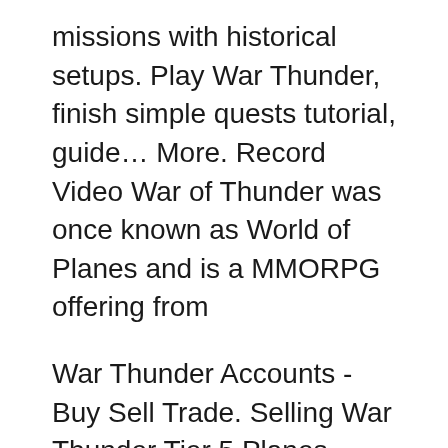missions with historical setups. Play War Thunder, finish simple quests tutorial, guide... More. Record Video War of Thunder was once known as World of Planes and is a MMORPG offering from
War Thunder Accounts - Buy Sell Trade. Selling War Thunder Tier 5 Planes Account Selling Level 100 or Higher 5 or Higher LVL 100 account with top tier USA F7F-1, B-57a, Fw 190 A-8 (USA), Ki-43-II (USA) Fw 190 A-4, Aircraft. Planes. Fighter. America. Bomber. Add category; War Thunder Wiki is a FANDOM Games Community.
The USA have some strong and experimental designs due to the lack of competitive late-war historical aircraft. A Beginner's™ Guide to W...